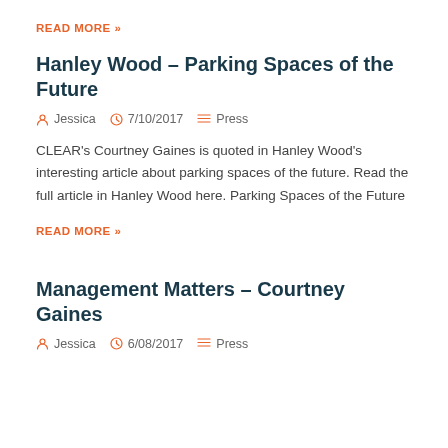READ MORE »
Hanley Wood – Parking Spaces of the Future
Jessica  7/10/2017  Press
CLEAR's Courtney Gaines is quoted in Hanley Wood's interesting article about parking spaces of the future. Read the full article in Hanley Wood here. Parking Spaces of the Future
READ MORE »
Management Matters – Courtney Gaines
Jessica  6/08/2017  Press